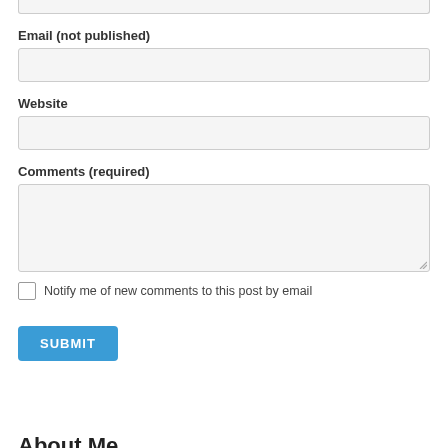Email (not published)
Website
Comments (required)
Notify me of new comments to this post by email
SUBMIT
About Me